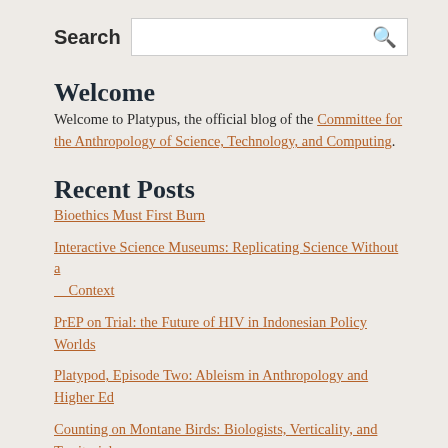Search
Welcome
Welcome to Platypus, the official blog of the Committee for the Anthropology of Science, Technology, and Computing.
Recent Posts
Bioethics Must First Burn
Interactive Science Museums: Replicating Science Without a Context
PrEP on Trial: the Future of HIV in Indonesian Policy Worlds
Platypod, Episode Two: Ableism in Anthropology and Higher Ed
Counting on Montane Birds: Biologists, Verticality, and Territorial Defense in Colombia
Recent Comments
R A on “Emeryville is Weird”